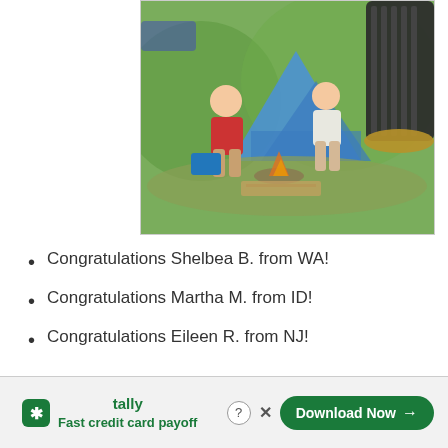[Figure (photo): Two people sitting outdoors at a campsite near a tent and campfire, with a dark cylindrical bug zapper hanging in the foreground on the right side.]
Congratulations Shelbea B. from WA!
Congratulations Martha M. from ID!
Congratulations Eileen R. from NJ!
[Figure (other): Tally app advertisement banner at the bottom: 'Fast credit card payoff' with a 'Download Now' button, Tally logo, help icon and close (X) button.]